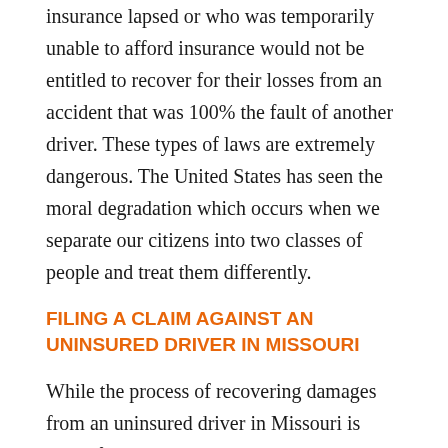insurance lapsed or who was temporarily unable to afford insurance would not be entitled to recover for their losses from an accident that was 100% the fault of another driver. These types of laws are extremely dangerous. The United States has seen the moral degradation which occurs when we separate our citizens into two classes of people and treat them differently.
FILING A CLAIM AGAINST AN UNINSURED DRIVER IN MISSOURI
While the process of recovering damages from an uninsured driver in Missouri is linear for the not-at-